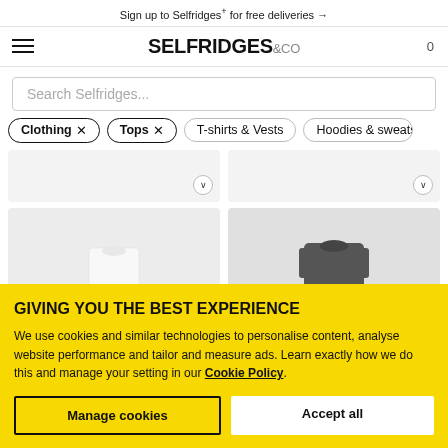Sign up to Selfridges+ for free deliveries →
SELFRIDGES&CO
Search Selfridges...
Clothing ×
Tops ×
T-shirts & Vests
Hoodies & sweatshirts
[Figure (screenshot): Product card top area with chevron dropdown buttons, grey cards]
[Figure (photo): Two product image cards: left showing white t-shirt, right showing dark grey sweatshirt]
GIVING YOU THE BEST EXPERIENCE
We use cookies and similar technologies to personalise content, analyse website performance and tailor and measure ads. Learn exactly how we do this and manage your setting in our Cookie Policy.
Manage cookies
Accept all